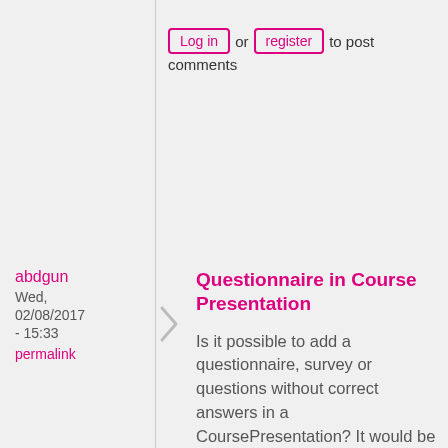Log in or register to post comments
abdgun
Wed, 02/08/2017 - 15:33
permalink
Questionnaire in Course Presentation
Is it possible to add a questionnaire, survey or questions without correct answers in a CoursePresentation? It would be nice to use fill in the blanks, simple choice or multiple choice set without having correct